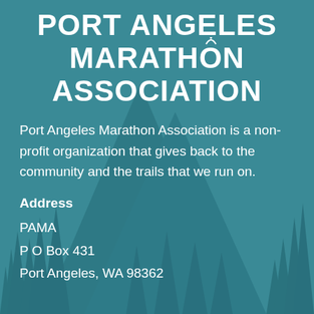PORT ANGELES MARATHON ASSOCIATION
Port Angeles Marathon Association is a non-profit organization that gives back to the community and the trails that we run on.
Address
PAMA
P O Box 431
Port Angeles, WA 98362